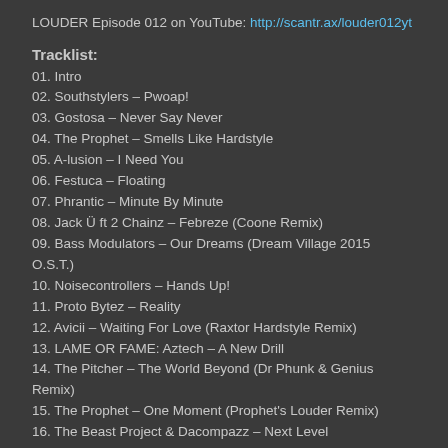LOUDER Episode 012 on YouTube: http://scantr.ax/louder012yt
Tracklist:
01. Intro
02. Southstylers – Pwoap!
03. Gostosa – Never Say Never
04. The Prophet – Smells Like Hardstyle
05. A-lusion – I Need You
06. Festuca – Floating
07. Phrantic – Minute By Minute
08. Jack Ü ft 2 Chainz – Febreze (Coone Remix)
09. Bass Modulators – Our Dreams (Dream Village 2015 O.S.T.)
10. Noisecontrollers – Hands Up!
11. Proto Bytez – Reality
12. Avicii – Waiting For Love (Raxtor Hardstyle Remix)
13. LAME OR FAME: Aztech – A New Drill
14. The Pitcher – The World Beyond (Dr Phunk & Genius Remix)
15. The Prophet – One Moment (Prophet's Louder Remix)
16. The Beast Project & Dacompazz – Next Level